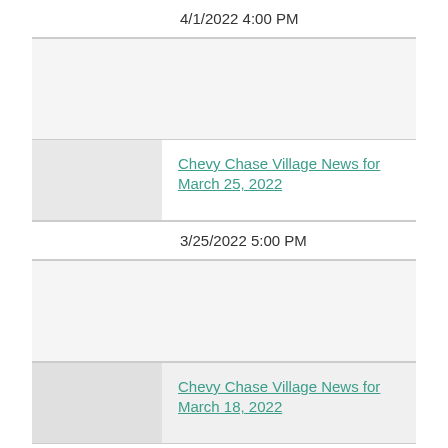4/1/2022 4:00 PM
[Figure (photo): Thumbnail image placeholder for April 1 2022 news entry]
Chevy Chase Village News for March 25, 2022
3/25/2022 5:00 PM
[Figure (photo): Thumbnail image placeholder for March 25 2022 news entry]
Chevy Chase Village News for March 18, 2022
3/18/2022 5:00 PM
[Figure (photo): Thumbnail image placeholder for March 18 2022 news entry]